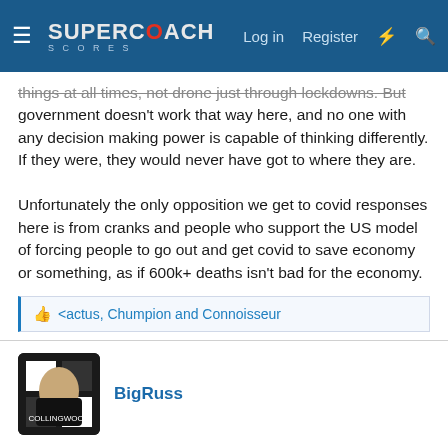SuperCoach — Log in | Register
things at all times, not drone just through lockdowns. But government doesn't work that way here, and no one with any decision making power is capable of thinking differently. If they were, they would never have got to where they are.

Unfortunately the only opposition we get to covid responses here is from cranks and people who support the US model of forcing people to go out and get covid to save economy or something, as if 600k+ deaths isn't bad for the economy.
<actus, Chumpion and Connoisseur
BigRuss
27 Jun 2021
#17
McLovin said:
The thing that's never properly considered is people's financial